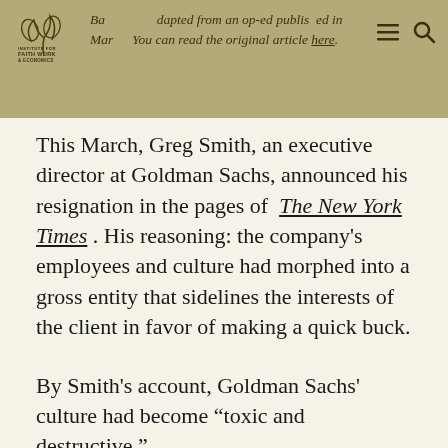Based and adapted from an op-ed published in March. You can read the original article here.
This March, Greg Smith, an executive director at Goldman Sachs, announced his resignation in the pages of The New York Times. His reasoning: the company's employees and culture had morphed into a gross entity that sidelines the interests of the client in favor of making a quick buck.
By Smith's account, Goldman Sachs' culture had become “toxic and destructive.”
Without taking sides, we can say Mr. Smith’s consternation gets to the important and often misunderstood difference between greed and self-